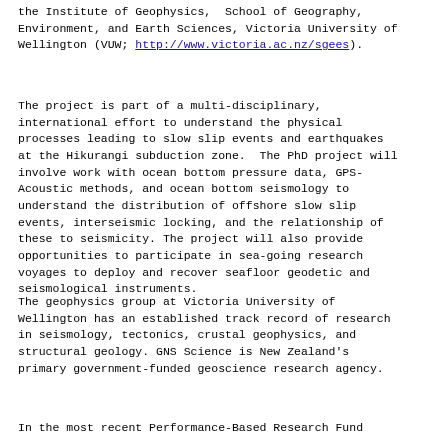the Institute of Geophysics,  School of Geography, Environment, and Earth Sciences, Victoria University of Wellington (VUW; http://www.victoria.ac.nz/sgees).
The project is part of a multi-disciplinary, international effort to understand the physical processes leading to slow slip events and earthquakes at the Hikurangi subduction zone.  The PhD project will involve work with ocean bottom pressure data, GPS-Acoustic methods, and ocean bottom seismology to understand the distribution of offshore slow slip events, interseismic locking, and the relationship of these to seismicity. The project will also provide opportunities to participate in sea-going research voyages to deploy and recover seafloor geodetic and seismological instruments.
The geophysics group at Victoria University of Wellington has an established track record of research in seismology, tectonics, crustal geophysics, and structural geology. GNS Science is New Zealand's primary government-funded geoscience research agency.
In the most recent Performance-Based Research Fund